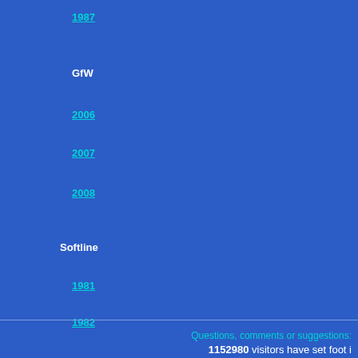1987
GfW
2006
2007
2008
Softline
1981
1982
1983
1984
Excerpts
Articles
Classic Ads
Tales
Questions, comments or suggestions:
1152980 visitors have set foot i